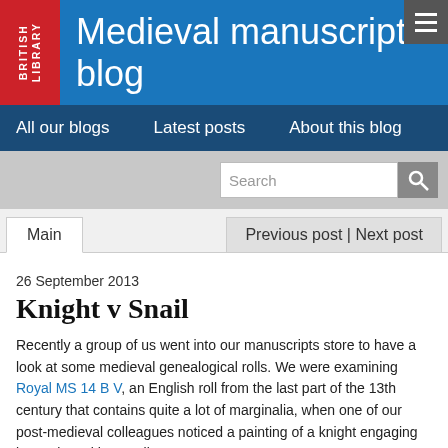Medieval manuscripts blog
All our blogs | Latest posts | About this blog
26 September 2013
Knight v Snail
Recently a group of us went into our manuscripts store to have a look at some medieval genealogical rolls. We were examining Royal MS 14 B V, an English roll from the last part of the 13th century that contains quite a lot of marginalia, when one of our post-medieval colleagues noticed a painting of a knight engaging in combat with a snail.
[Figure (photo): Medieval manuscript text strip showing handwritten Latin/Old French text beginning with 'maleure de fun plectitour. Li quel char meitrenaunte']